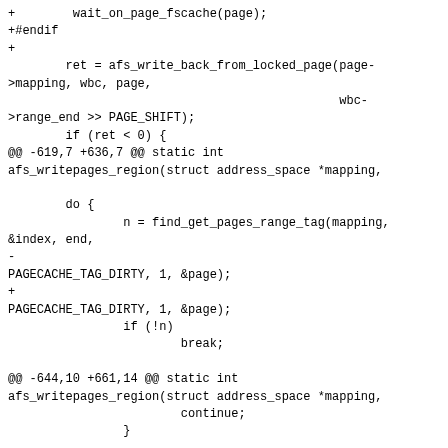Diff/patch code block showing changes to AFS writepages region functions, including wait_on_page_fscache, afs_write_back_from_locked_page, find_get_pages_range_tag, and PageWriteback/PageFsCache modifications.